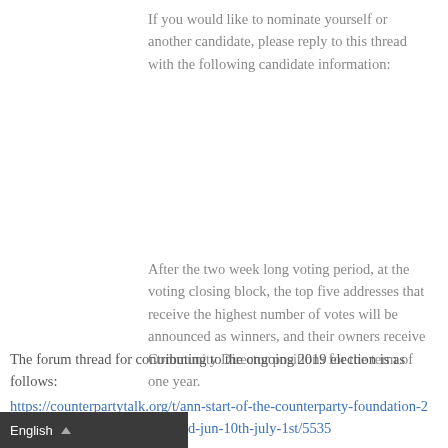If you would like to nominate yourself or another candidate, please reply to this thread with the following candidate information:
After the two week long voting period, at the voting closing block, the top five addresses that receive the highest number of votes will be announced as winners, and their owners receive Community Director positions for the term of one year.
The forum thread for contributing to the ongoing 2019 election is as follows:
https://counterpartytalk.org/t/ann-start-of-the-counterparty-foundation-2019-election-nomination-period-jun-10th-july-1st/5535
English